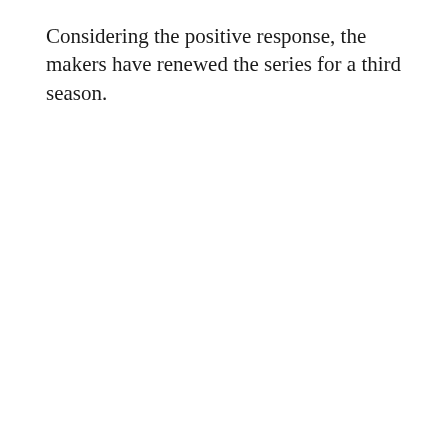Considering the positive response, the makers have renewed the series for a third season.